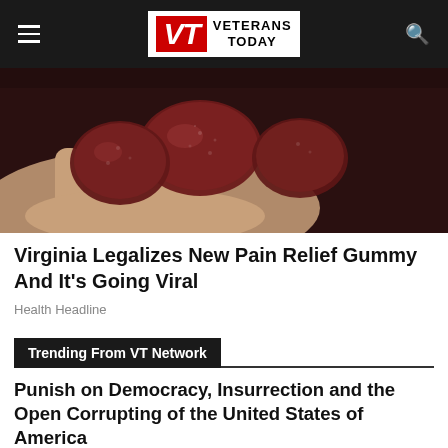VETERANS TODAY
[Figure (photo): Close-up photo of dark red gummy candies being held in a person's hand]
Virginia Legalizes New Pain Relief Gummy And It's Going Viral
Health Headline
Trending From VT Network
Punish on Democracy, Insurrection and the Open Corrupting of the United States of America
Was the Dugina Murder a Terrorist Event in Russia?